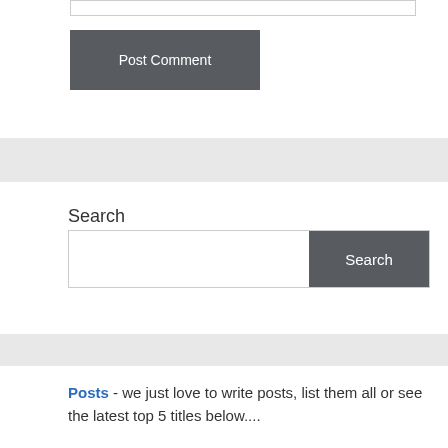[Figure (screenshot): Text input field at the top of the page]
[Figure (screenshot): Post Comment button, dark gray background with white text]
[Figure (screenshot): Light gray horizontal band divider]
Search
[Figure (screenshot): Search input box with Search button on the right]
[Figure (screenshot): Light gray horizontal band divider]
Posts - we just love to write posts, list them all or see the latest top 5 titles below....